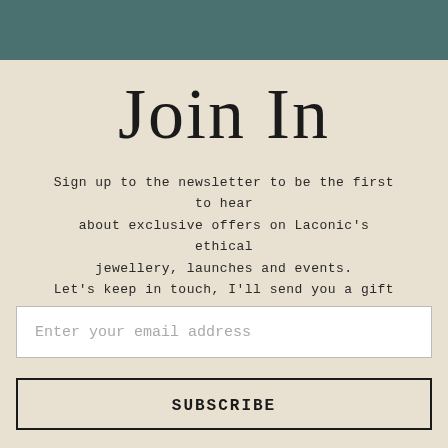[Figure (other): Teal/dark green top banner bar]
Join In
Sign up to the newsletter to be the first to hear about exclusive offers on Laconic's ethical jewellery, launches and events. Let's keep in touch, I'll send you a gift on your birthday too!
Enter your email address
SUBSCRIBE